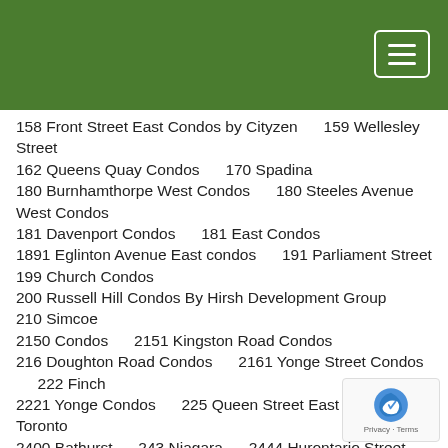158 Front Street East Condos by Cityzen     159 Wellesley Street
162 Queens Quay Condos     170 Spadina
180 Burnhamthorpe West Condos     180 Steeles Avenue West Condos
181 Davenport Condos     181 East Condos
1891 Eglinton Avenue East condos     191 Parliament Street
199 Church Condos
200 Russell Hill Condos By Hirsh Development Group     210 Simcoe
2150 Condos     2151 Kingston Road Condos
216 Doughton Road Condos     2161 Yonge Street Condos     222 Finch
2221 Yonge Condos     225 Queen Street East Condos Toronto
2400 Bathurst     243 Niagara     2444 Hurontario Street Condos
2452 bloor street west condos     250 Lawrence Condos
252 Church condos     260 High Park Condos     263 Adelaide
266 ROYAL YORK ROAD CONDOS     27 Yorkville Condos
277 Davenport     28 Eastern Condos     2839 Jane Street Condos
299 Campbell Avenue     30 Ordance Street     30 Tippett Road
300 Danforth Road Condos     300 Front Street West
3005 bloor street west     3018 Yonge     32 Camden Street
32 Raglan Avenue Condos     3201 Highway 7 W Condos
321 Davenport Condos     33 Bay at Pinnacle Centre
330 Richmond Condos     332 High Park     334 BLOOR STREET CONDOS